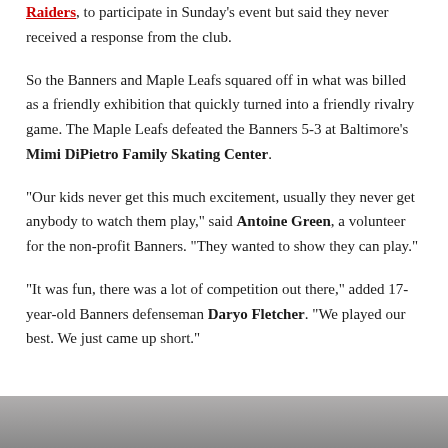Raiders, to participate in Sunday's event but said they never received a response from the club.
So the Banners and Maple Leafs squared off in what was billed as a friendly exhibition that quickly turned into a friendly rivalry game. The Maple Leafs defeated the Banners 5-3 at Baltimore's Mimi DiPietro Family Skating Center.
“Our kids never get this much excitement, usually they never get anybody to watch them play,” said Antoine Green, a volunteer for the non-profit Banners. “They wanted to show they can play.”
“It was fun, there was a lot of competition out there,” added 17-year-old Banners defenseman Daryo Fletcher. “We played our best. We just came up short.”
[Figure (photo): Partial photo strip at the bottom of the page, showing a cropped image]